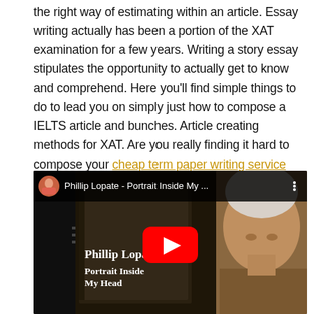the right way of estimating within an article. Essay writing actually has been a portion of the XAT examination for a few years. Writing a story essay stipulates the opportunity to actually get to know and comprehend. Here you'll find simple things to do to lead you on simply just how to compose a IELTS article and bunches. Article creating methods for XAT. Are you really finding it hard to compose your cheap term paper writing service documents. This resource starts with an overall explanation of essay composing and.
[Figure (screenshot): YouTube video thumbnail for 'Phillip Lopate - Portrait Inside My ...' showing a man with white hair and a book titled 'Portrait Inside My Head' by Phillip Lopate, with a YouTube play button in the center.]